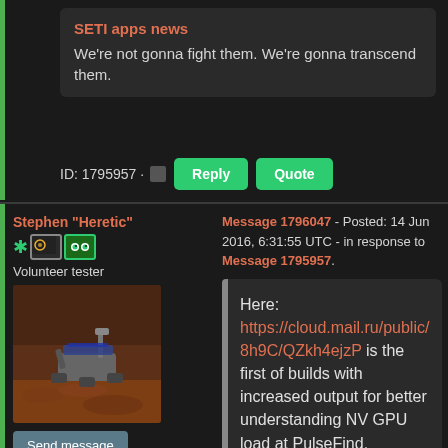SETI apps news
We're not gonna fight them. We're gonna transcend them.
ID: 1795957 · Reply Quote
Stephen "Heretic"
Volunteer tester
[Figure (photo): Mars rover on reddish-brown terrain, avatar image for forum user]
Send message
Joined: 20 Sep 12
Posts: 5557
Credit: 192,787,363
RAC: 628
Message 1796047 - Posted: 14 Jun 2016, 6:31:55 UTC - in response to Message 1795957.
Here: https://cloud.mail.ru/public/8h9C/QZkh4ejzP is the first of builds with increased output for better understanding NV GPU load at PulseFind.

Please run it mostly with OURPl...